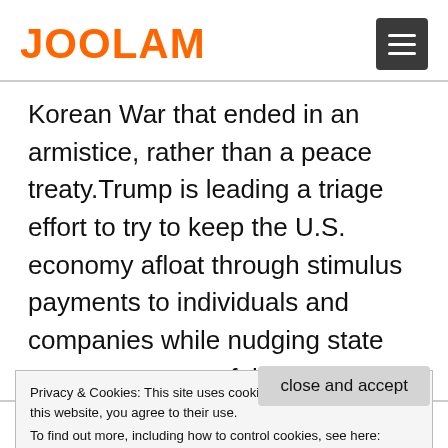JOOLAM
Korean War that ended in an armistice, rather than a peace treaty.Trump is leading a triage effort to try to keep the U.S. economy afloat through stimulus payments to individuals and companies while nudging state governors to carefully reopen their states as new infections
Privacy & Cookies: This site uses cookies. By continuing to use this website, you agree to their use.
To find out more, including how to control cookies, see here:
Cookie Policy
close and accept
people have lost their jobs and GDP is